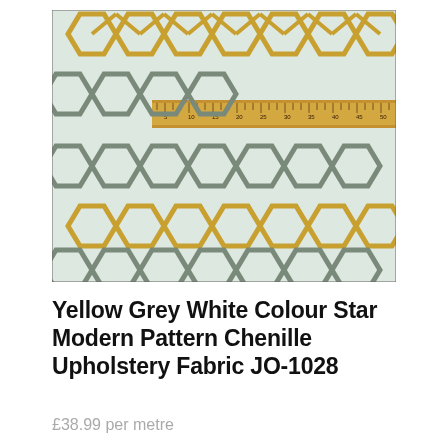[Figure (photo): Close-up photograph of a chenille upholstery fabric with a geometric star pattern in yellow/gold and grey tones on a white/cream background. A wooden ruler is placed horizontally across the upper-middle portion of the fabric for scale.]
Yellow Grey White Colour Star Modern Pattern Chenille Upholstery Fabric JO-1028
£38.99 per metre